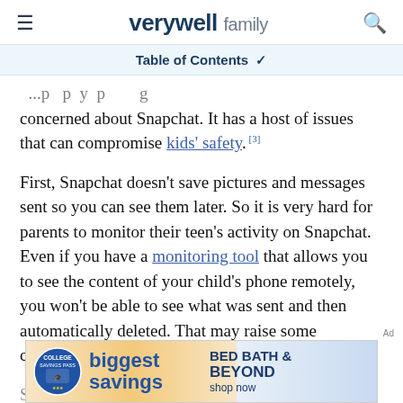verywell family
Table of Contents
...concerned about Snapchat. It has a host of issues that can compromise kids' safety. [3]
First, Snapchat doesn't save pictures and messages sent so you can see them later. So it is very hard for parents to monitor their teen's activity on Snapchat. Even if you have a monitoring tool that allows you to see the content of your child's phone remotely, you won't be able to see what was sent and then automatically deleted. That may raise some concerns.
Second, while the photo message disappears after...
[Figure (other): Advertisement banner: College Savings Pass badge with 'biggest savings' text on left, Bed Bath & Beyond 'shop now' on right]